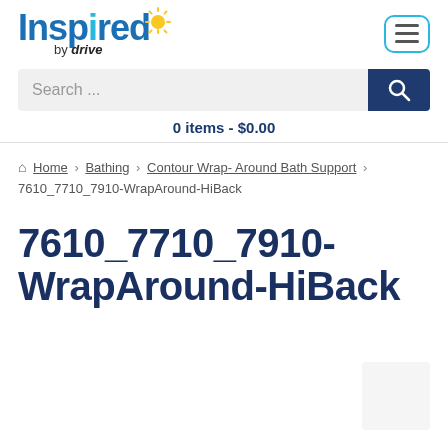[Figure (logo): Inspired by Drive logo with sun icon]
0 items - $0.00
Home > Bathing > Contour Wrap- Around Bath Support > 7610_7710_7910-WrapAround-HiBack
7610_7710_7910-WrapAround-HiBack